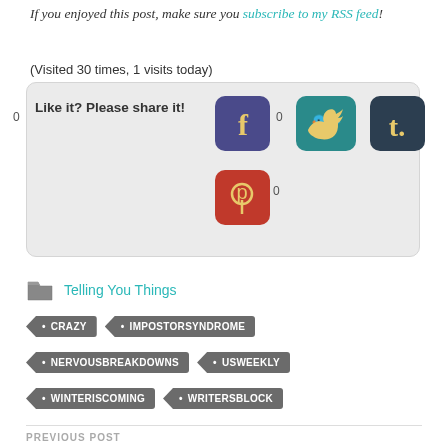If you enjoyed this post, make sure you subscribe to my RSS feed!
(Visited 30 times, 1 visits today)
[Figure (infographic): Social share box with Facebook (0 shares), Twitter, Tumblr (0 shares), and Pinterest (0 shares) icons on a light grey rounded rectangle background. Label: 'Like it? Please share it!']
Telling You Things
CRAZY
IMPOSTORSYNDROME
NERVOUSBREAKDOWNS
USWEEKLY
WINTERISCOMING
WRITERSBLOCK
PREVIOUS POST
Love and Death